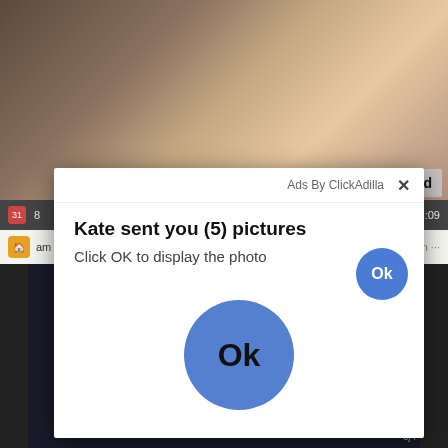[Figure (screenshot): Background website screenshot showing adult content image at top, browser status bar, and dark content below]
[x] Close Ad
[Figure (screenshot): Pop-up advertisement modal overlay. Header: 'Ads By ClickAdilla' with X close button. Title: 'Kate sent you (5) pictures'. Subtitle: 'Click OK to display the photo'. Small blue OK button top right. Large blue OK button centered at bottom.]
Ads By ClickAdilla
Kate sent you (5) pictures
Click OK to display the photo
Ok
Ok
cj4